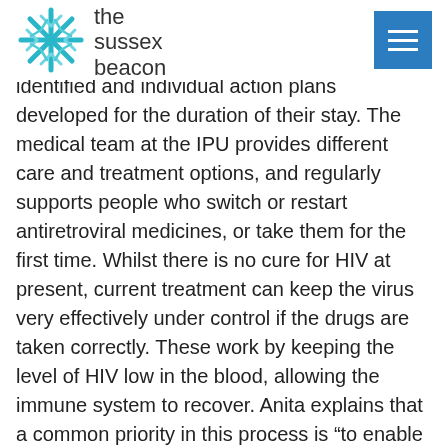the sussex beacon
identified and individual action plans developed for the duration of their stay. The medical team at the IPU provides different care and treatment options, and regularly supports people who switch or restart antiretroviral medicines, or take them for the first time. Whilst there is no cure for HIV at present, current treatment can keep the virus very effectively under control if the drugs are taken correctly. These work by keeping the level of HIV low in the blood, allowing the immune system to recover. Anita explains that a common priority in this process is “to enable clients to fit their medications into their daily